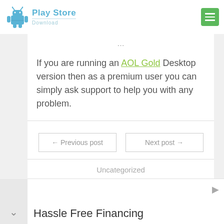[Figure (logo): Play Store Download logo with Android robot icon on the left and text 'Play Store Download' on the right]
If you are running an AOL Gold Desktop version then as a premium user you can simply ask support to help you with any problem.
← Previous post
Next post →
Uncategorized
Hassle Free Financing